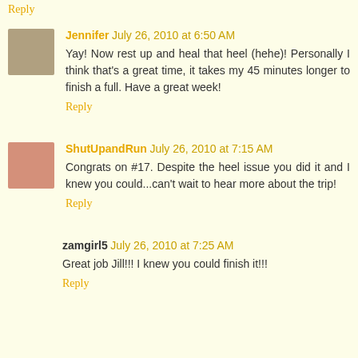Reply
Jennifer July 26, 2010 at 6:50 AM
Yay! Now rest up and heal that heel (hehe)! Personally I think that's a great time, it takes my 45 minutes longer to finish a full. Have a great week!
Reply
ShutUpandRun July 26, 2010 at 7:15 AM
Congrats on #17. Despite the heel issue you did it and I knew you could...can't wait to hear more about the trip!
Reply
zamgirl5 July 26, 2010 at 7:25 AM
Great job Jill!!! I knew you could finish it!!!
Reply